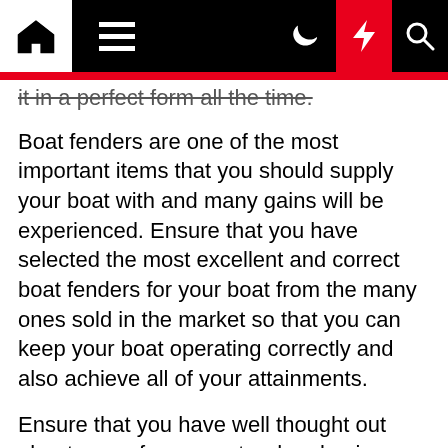Navigation bar with home, menu, moon, flash, and search icons
it in a perfect form all the time.
Boat fenders are one of the most important items that you should supply your boat with and many gains will be experienced. Ensure that you have selected the most excellent and correct boat fenders for your boat from the many ones sold in the market so that you can keep your boat operating correctly and also achieve all of your attainments.
Ensure that you have well thought out about some few aspects when buying boat fenders for your boat and all of your wants will be satisfied. You should ensure that you have searched on the internet for the best boat fenders.
Size is another element that you should think about when looking for the correct boat fenders for your